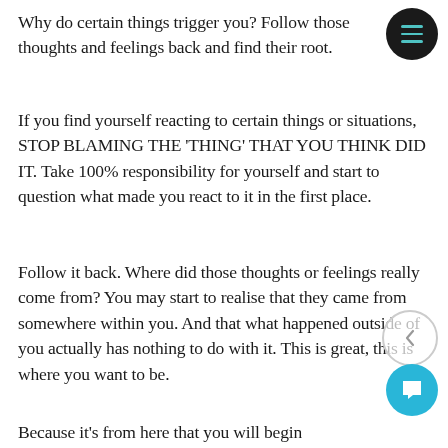Why do certain things trigger you? Follow those thoughts and feelings back and find their root.
If you find yourself reacting to certain things or situations, STOP BLAMING THE 'THING' THAT YOU THINK DID IT. Take 100% responsibility for yourself and start to question what made you react to it in the first place.
Follow it back. Where did those thoughts or feelings really come from? You may start to realise that they came from somewhere within you. And that what happened outside of you actually has nothing to do with it. This is great, this is where you want to be.
Because it's from here that you will begin...